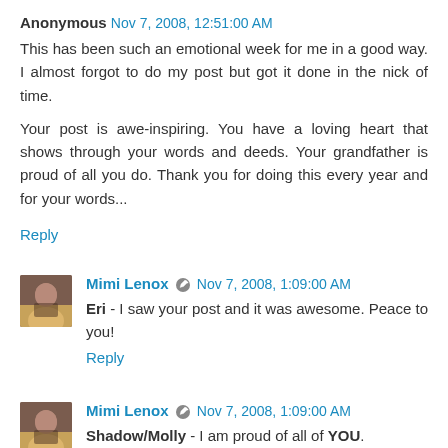Anonymous  Nov 7, 2008, 12:51:00 AM
This has been such an emotional week for me in a good way. I almost forgot to do my post but got it done in the nick of time.

Your post is awe-inspiring. You have a loving heart that shows through your words and deeds. Your grandfather is proud of all you do. Thank you for doing this every year and for your words...
Reply
Mimi Lenox  Nov 7, 2008, 1:09:00 AM
Eri - I saw your post and it was awesome. Peace to you!
Reply
Mimi Lenox  Nov 7, 2008, 1:09:00 AM
Shadow/Molly - I am proud of all of YOU.